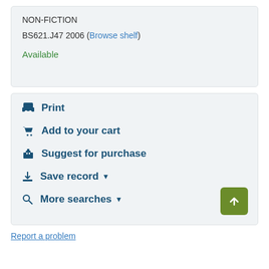NON-FICTION
BS621.J47 2006 (Browse shelf)
Available
Print
Add to your cart
Suggest for purchase
Save record
More searches
Report a problem